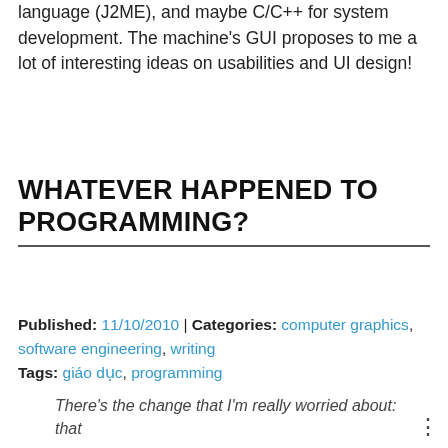language (J2ME), and maybe C/C++ for system development. The machine's GUI proposes to me a lot of interesting ideas on usabilities and UI design!
WHATEVER HAPPENED TO PROGRAMMING?
Published: 11/10/2010 | Categories: computer graphics, software engineering, writing
Tags: giáo dục, programming
There's the change that I'm really worried about: that